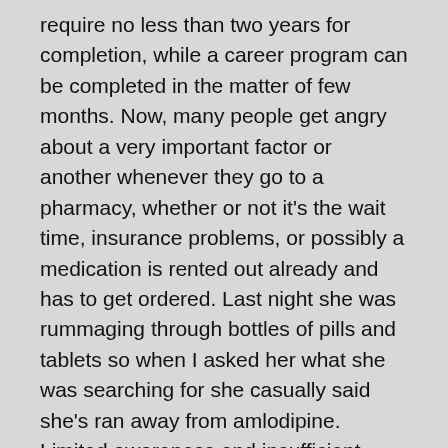require no less than two years for completion, while a career program can be completed in the matter of few months. Now, many people get angry about a very important factor or another whenever they go to a pharmacy, whether or not it's the wait time, insurance problems, or possibly a medication is rented out already and has to get ordered. Last night she was rummaging through bottles of pills and tablets so when I asked her what she was searching for she casually said she's ran away from amlodipine. Limited awareness and insufficient oversight among doctors, pharmacists along with the patients could also contribute on the problem. Authorities, drugs online, wholesalers, clinics and catalog shopping facilities, retain the services of the remaining pharmacy technicians. It's no secret that healthcare costs are from control. An electrician or perhaps a teacher will most likely not have to be acquainted with terms like "bowel impactation" or "code brown", but for any college student in a very nursing